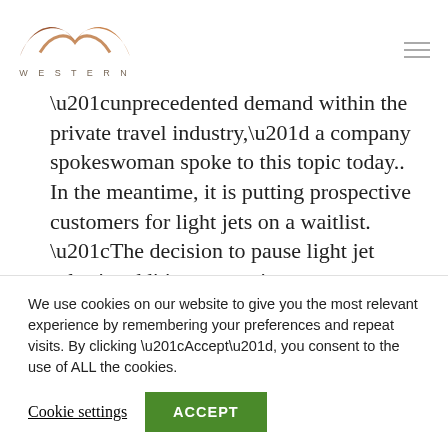[Figure (logo): Western company logo with stylized wing/wave shape in brown/copper tones above the word WESTERN in spaced capitals]
“unprecedented demand within the private travel industry,” a company spokeswoman spoke to this topic today.. In the meantime, it is putting prospective customers for light jets on a waitlist. “The decision to pause light jet sales in addition to previous
We use cookies on our website to give you the most relevant experience by remembering your preferences and repeat visits. By clicking “Accept”, you consent to the use of ALL the cookies.
Cookie settings
ACCEPT